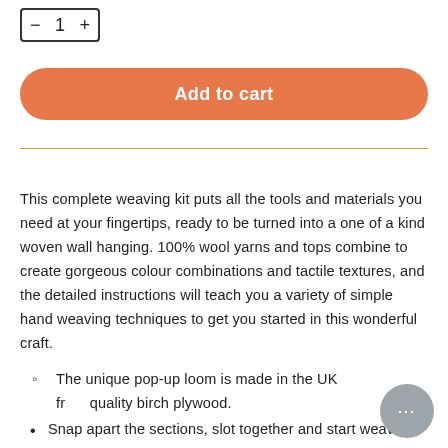[Figure (other): Quantity selector box showing minus, 1, plus controls with a rectangular border]
[Figure (other): Orange rounded Add to cart button]
This complete weaving kit puts all the tools and materials you need at your fingertips, ready to be turned into a one of a kind woven wall hanging. 100% wool yarns and tops combine to create gorgeous colour combinations and tactile textures, and the detailed instructions will teach you a variety of simple hand weaving techniques to get you started in this wonderful craft.
The unique pop-up loom is made in the UK from quality birch plywood.
Snap apart the sections, slot together and start weaving!